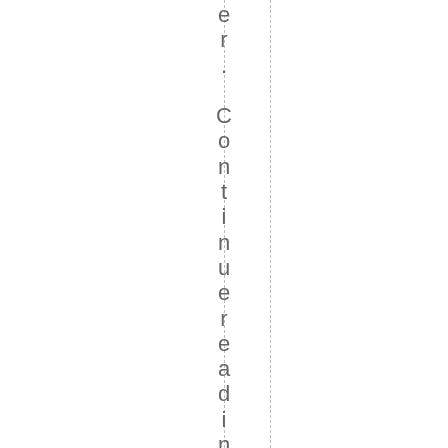er. Continue reading JOBOPEN I